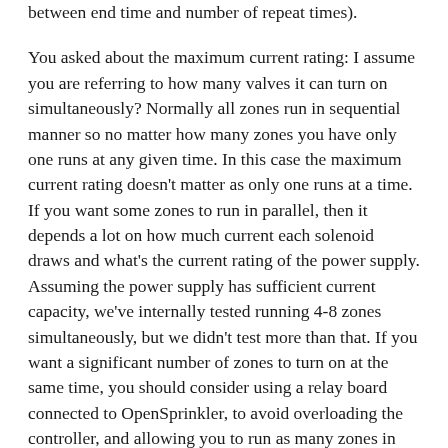between end time and number of repeat times).
You asked about the maximum current rating: I assume you are referring to how many valves it can turn on simultaneously? Normally all zones run in sequential manner so no matter how many zones you have only one runs at any given time. In this case the maximum current rating doesn't matter as only one runs at a time. If you want some zones to run in parallel, then it depends a lot on how much current each solenoid draws and what's the current rating of the power supply. Assuming the power supply has sufficient current capacity, we've internally tested running 4-8 zones simultaneously, but we didn't test more than that. If you want a significant number of zones to turn on at the same time, you should consider using a relay board connected to OpenSprinkler, to avoid overloading the controller, and allowing you to run as many zones in parallel as you want.